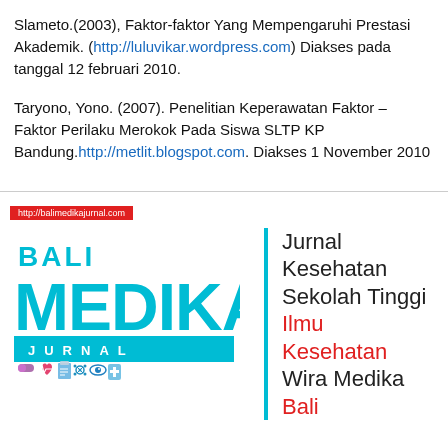Slameto.(2003), Faktor-faktor Yang Mempengaruhi Prestasi Akademik. (http://luluvikar.wordpress.com) Diakses pada tanggal 12 februari 2010.
Taryono, Yono. (2007). Penelitian Keperawatan Faktor – Faktor Perilaku Merokok Pada Siswa SLTP KP Bandung.http://metlit.blogspot.com. Diakses 1 November 2010
[Figure (logo): Bali Medika Jurnal logo with cyan/teal BALI MEDIKA JURNAL text, medical icons, and journal title text 'Jurnal Kesehatan Sekolah Tinggi Ilmu Kesehatan Wira Medika Bali' with red URL badge at top reading http://balimedikajurnal.com]